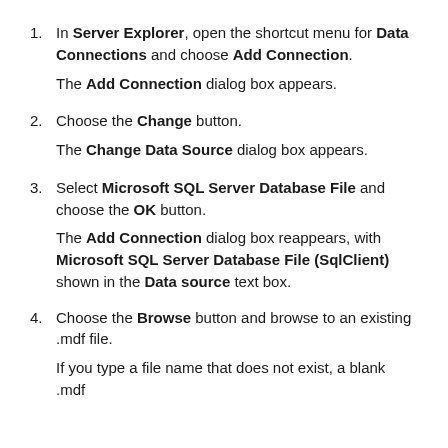In Server Explorer, open the shortcut menu for Data Connections and choose Add Connection.
The Add Connection dialog box appears.
Choose the Change button.
The Change Data Source dialog box appears.
Select Microsoft SQL Server Database File and choose the OK button.
The Add Connection dialog box reappears, with Microsoft SQL Server Database File (SqlClient) shown in the Data source text box.
Choose the Browse button and browse to an existing .mdf file.
If you type a file name that does not exist, a blank .mdf